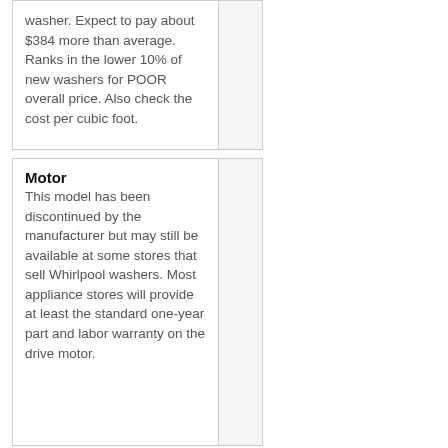washer. Expect to pay about $384 more than average. Ranks in the lower 10% of new washers for POOR overall price. Also check the cost per cubic foot.
Motor
This model has been discontinued by the manufacturer but may still be available at some stores that sell Whirlpool washers. Most appliance stores will provide at least the standard one-year part and labor warranty on the drive motor.